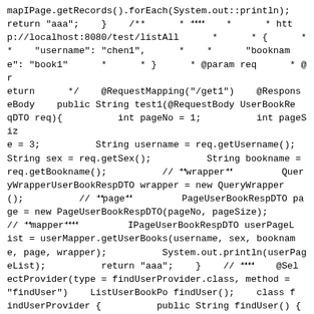mapIPage.getRecords().forEach(System.out::println);
return "aaa";    }    /**      * 𝀀𝀀𝀀𝀀    *      * http://localhost:8080/test/listAll      *      * {    *
*    "username": "chen1",      *    *      "bookname": "book1"      *      * }      * @param req    * @return    */    @RequestMapping("/get1")    @ResponseBody    public String test1(@RequestBody UserBookReqDTO req){          int pageNo = 1;          int pageSize = 3;          String username = req.getUsername();    String sex = req.getSex();          String bookname = req.getBookname();          // 𝀀𝀀wrapper𝀀𝀀         QueryWrapperUserBookRespDTO wrapper = new QueryWrapper();          // 𝀀𝀀page𝀀𝀀         PageUserBookRespDTO page = new PageUserBookRespDTO(pageNo, pageSize);    // 𝀀𝀀mapper𝀀𝀀𝀀𝀀         IPageUserBookRespDTO userPageList = userMapper.getUserBooks(username, sex, bookname, page, wrapper);          System.out.println(userPageList);          return "aaa";    }    // 𝀀𝀀𝀀𝀀    @SelectProvider(type = findUserProvider.class, method = "findUser")    ListUserBookPo findUser();    class findUserProvider {          public String findUser() {    String sql = new SQL()                               .SELECT("u.username", "u.password", "b.bookname", "b.author")                               .FROM("user u")
.INNER_JOIN("book b")                          .WHERE("u.